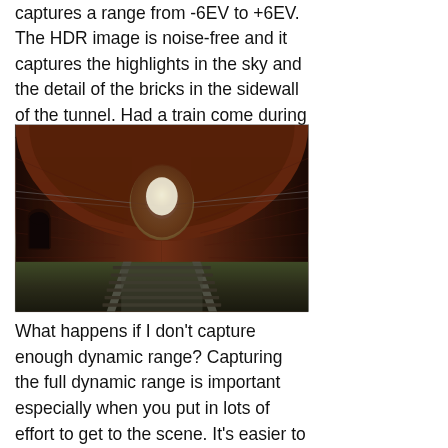captures a range from -6EV to +6EV. The HDR image is noise-free and it captures the highlights in the sky and the detail of the bricks in the sidewall of the tunnel. Had a train come during the shoot, my plan was to run to the little fake door on the left and wait it out, good thing it didn't.
[Figure (photo): HDR photograph taken inside a brick railway tunnel, looking toward a bright circular opening at the far end. Railway tracks run along the center. Brick walls and arched ceiling are visible, with warm reddish-brown tones. A small arched doorway is visible on the left wall.]
What happens if I don't capture enough dynamic range? Capturing the full dynamic range is important especially when you put in lots of effort to get to the scene. It's easier to capture more images than you need than to go back and reshoot, besides you can look at the histograms and delete the unneeded images later.